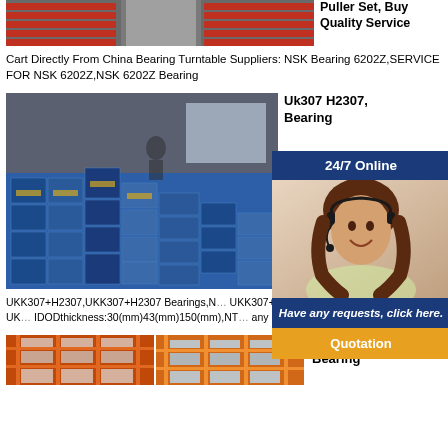[Figure (photo): Warehouse with red product boxes on shelving racks]
Puller Set, Buy Quality Service Cart Directly From China Bearing Turntable Suppliers: NSK Bearing 6202Z,SERVICE FOR NSK 6202Z,NSK 6202Z Bearing
[Figure (photo): Warehouse stacked with blue product boxes]
Uk307 H2307, Bearing
[Figure (photo): Customer service agent with headset smiling - 24/7 Online chat widget with Quotation button]
NTN
UKK307+H2307,UKK307+H2307 Bearings,NTN UKK307+H2307,Plummer Block Bearings UKK307+H2307 IDODthickness:30(mm)43(mm)150(mm),NTN... any Inquiry ,EMAIL:salesstore-bearings
[Figure (photo): Warehouse shelving with orange/red storage racks and boxes (left)]
[Figure (photo): Warehouse shelving with orange storage racks and boxes (right)]
HJ2307, Bearing